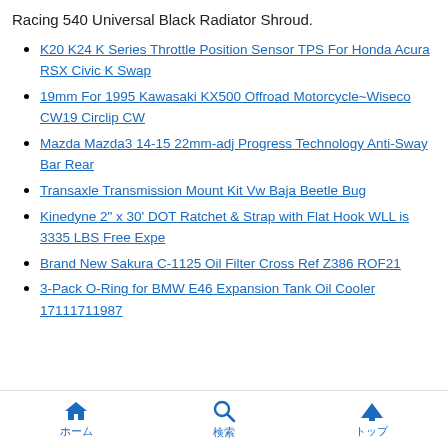Racing 540 Universal Black Radiator Shroud.
K20 K24 K Series Throttle Position Sensor TPS For Honda Acura RSX Civic K Swap
19mm For 1995 Kawasaki KX500 Offroad Motorcycle~Wiseco CW19 Circlip CW
Mazda Mazda3 14-15 22mm-adj Progress Technology Anti-Sway Bar Rear
Transaxle Transmission Mount Kit Vw Baja Beetle Bug
Kinedyne 2" x 30' DOT Ratchet & Strap with Flat Hook WLL is 3335 LBS Free Expe
Brand New Sakura C-1125 Oil Filter Cross Ref Z386 ROF21
3-Pack O-Ring for BMW E46 Expansion Tank Oil Cooler 17111711987
ホーム　検索　トップ